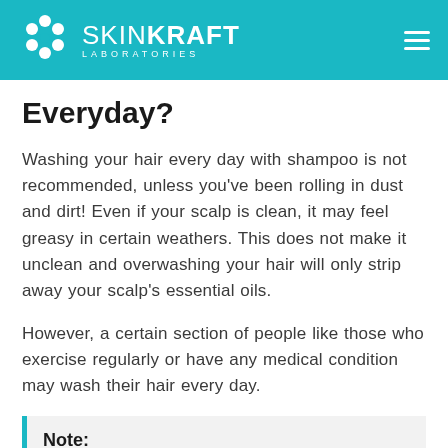SKINKRAFT LABORATORIES
Everyday?
Washing your hair every day with shampoo is not recommended, unless you've been rolling in dust and dirt! Even if your scalp is clean, it may feel greasy in certain weathers. This does not make it unclean and overwashing your hair will only strip away your scalp's essential oils.
However, a certain section of people like those who exercise regularly or have any medical condition may wash their hair every day.
Note: